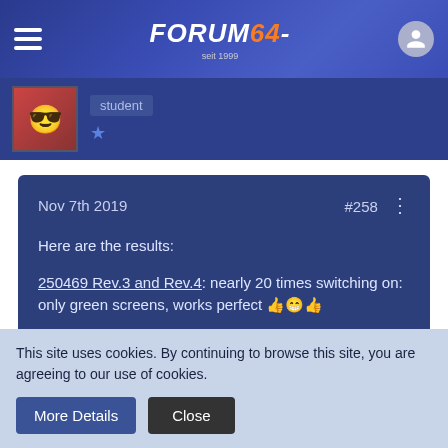Forum64 - seit 1999
student ★
Nov 7th 2019  #258
Here are the results:

250469 Rev.3 and Rev.4: nearly 20 times switching on: only green screens, works perfect 👍😁👍

250407 Rev.B : (not repaired yet) nearly 20 times switching on: no green or red screen, a 50:50 ratio of black screens and prompts
This site uses cookies. By continuing to browse this site, you are agreeing to our use of cookies.